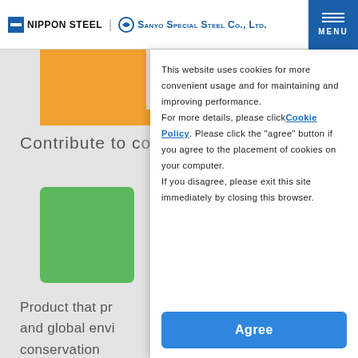NIPPON STEEL | SANYO SPECIAL STEEL Co., Ltd. MENU
[Figure (screenshot): Website background showing orange and green geometric shapes with partial text 'Contribute to c...' and 'Product that pr... and global envi... conservation']
This website uses cookies for more convenient usage and for maintaining and improving performance. For more details, please click Cookie Policy. Please click the “agree” button if you agree to the placement of cookies on your computer. If you disagree, please exit this site immediately by closing this browser.
Agree